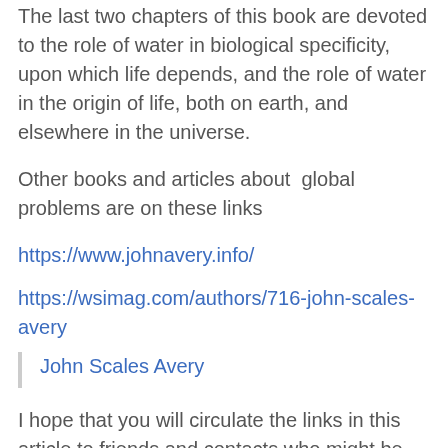The last two chapters of this book are devoted to the role of water in biological specificity, upon which life depends, and the role of water in the origin of life, both on earth, and elsewhere in the universe.
Other books and articles about  global problems are on these links
https://www.johnavery.info/
https://wsimag.com/authors/716-john-scales-avery
John Scales Avery
I hope that you will circulate the links in this article to friends and contacts who might be interested.